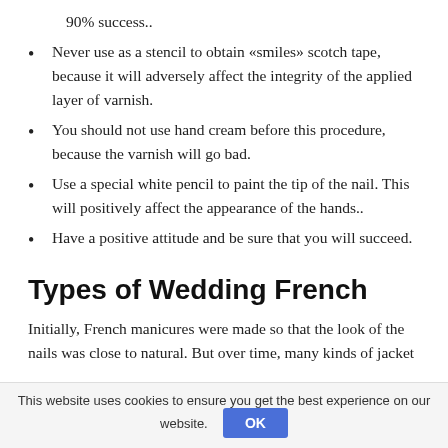90% success..
Never use as a stencil to obtain «smiles» scotch tape, because it will adversely affect the integrity of the applied layer of varnish.
You should not use hand cream before this procedure, because the varnish will go bad.
Use a special white pencil to paint the tip of the nail. This will positively affect the appearance of the hands..
Have a positive attitude and be sure that you will succeed.
Types of Wedding French
Initially, French manicures were made so that the look of the nails was close to natural. But over time, many kinds of jacket
This website uses cookies to ensure you get the best experience on our website.